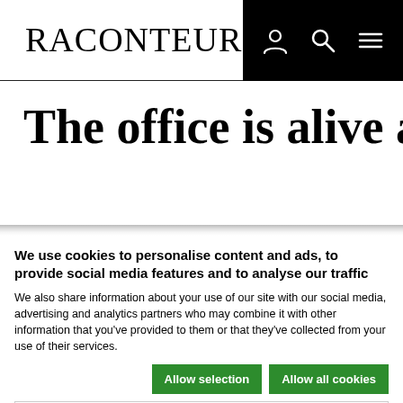RACONTEUR
The office is alive and well
We use cookies to personalise content and ads, to provide social media features and to analyse our traffic
We also share information about your use of our site with our social media, advertising and analytics partners who may combine it with other information that you've provided to them or that they've collected from your use of their services.
Allow selection | Allow all cookies
Necessary  Preferences  Statistics  Marketing  Show details